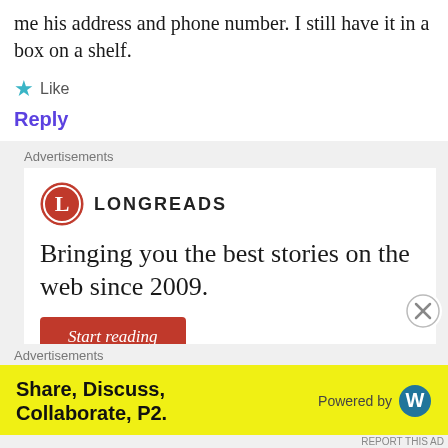me his address and phone number. I still have it in a box on a shelf.
Like
Reply
Advertisements
[Figure (logo): Longreads advertisement with red circle L logo and text 'LONGREADS', tagline 'Bringing you the best stories on the web since 2009.' and a red 'Start reading' button]
Advertisements
[Figure (infographic): Yellow advertisement banner: 'Share, Discuss, Collaborate, P2.' with 'Powered by' WordPress logo on the right]